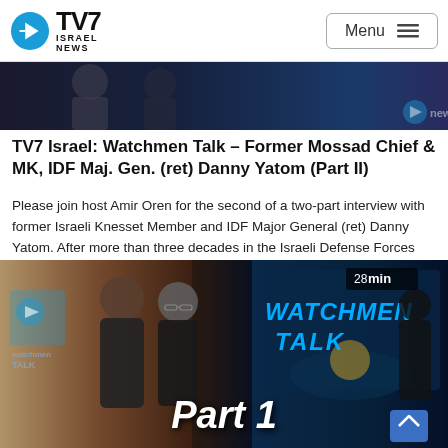TV7 ISRAEL NEWS | Menu
[Figure (screenshot): Top video thumbnail partial view — dark broadcast studio background with two people visible, TV7 News watermark in bottom right]
TV7 Israel: Watchmen Talk – Former Mossad Chief & MK, IDF Maj. Gen. (ret) Danny Yatom (Part II)
Please join host Amir Oren for the second of a two-part interview with former Israeli Knesset Member and IDF Major General (ret) Danny Yatom. After more than three decades in the Israeli Defense Forces leading Commando and Armor units up to division level, Gen. Yatom was appointed as head of Israel's renowned Mossad national intelligence...
May 15, 2021   👁23879 views
[Figure (screenshot): Video thumbnail showing two men standing together in a TV studio, with 'WATCHMEN TALK' text displayed on screen behind them, 'Part 1' overlay text at bottom, duration badge '28 min' in top right corner]